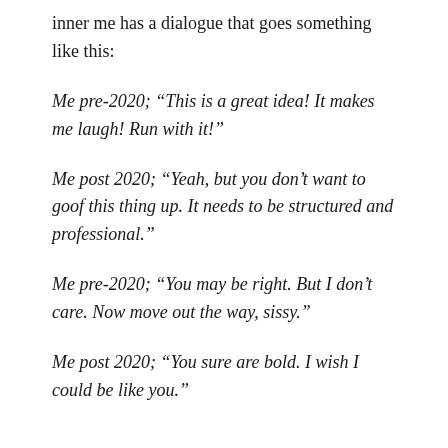inner me has a dialogue that goes something like this:
Me pre-2020; “This is a great idea! It makes me laugh! Run with it!”
Me post 2020; “Yeah, but you don’t want to goof this thing up. It needs to be structured and professional.”
Me pre-2020; “You may be right. But I don’t care. Now move out the way, sissy.”
Me post 2020; “You sure are bold. I wish I could be like you.”